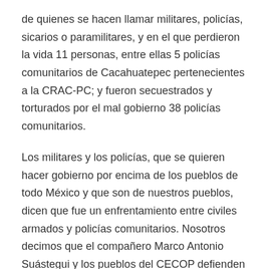de quienes se hacen llamar militares, policías, sicarios o paramilitares, y en el que perdieron la vida 11 personas, entre ellas 5 policías comunitarios de Cacahuatepec pertenecientes a la CRAC-PC; y fueron secuestrados y torturados por el mal gobierno 38 policías comunitarios.
Los militares y los policías, que se quieren hacer gobierno por encima de los pueblos de todo México y que son de nuestros pueblos, dicen que fue un enfrentamiento entre civiles armados y policías comunitarios. Nosotros decimos que el compañero Marco Antonio Suástegui y los pueblos del CECOP defienden su tierra para que no se la adueñen las empresas trasnacionales para hacer la presa Hidroeléctrica la Parota, que defienden su seguridad de los narcoparamilitares del gobierno y que defienden su autonomía porque el mal gobierno es asesino, mentiroso y